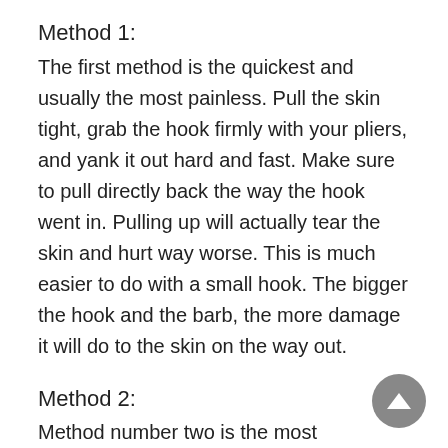Method 1:
The first method is the quickest and usually the most painless. Pull the skin tight, grab the hook firmly with your pliers, and yank it out hard and fast. Make sure to pull directly back the way the hook went in. Pulling up will actually tear the skin and hurt way worse. This is much easier to do with a small hook. The bigger the hook and the barb, the more damage it will do to the skin on the way out.
Method 2:
Method number two is the most complicated and good only if you have help, or if the hook is in someone else and you are the “surgeon”. You will